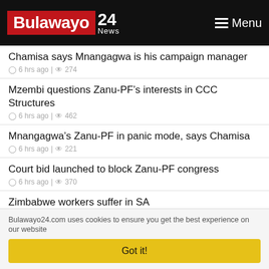[Figure (logo): Bulawayo 24 News logo with red background and Menu button]
Chamisa says Mnangagwa is his campaign manager
6 hrs ago | 274
Mzembi questions Zanu-PF’s interests in CCC Structures
6 hrs ago | 462
Mnangagwa’s Zanu-PF in panic mode, says Chamisa
6 hrs ago | 221
Court bid launched to block Zanu-PF congress
6 hrs ago | 370
Zimbabwe workers suffer in SA
Bulawayo24.com uses cookies to ensure you get the best experience on our website
Got it!